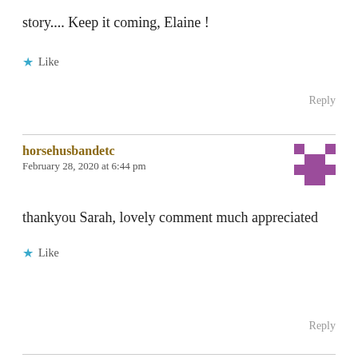story.... Keep it coming, Elaine !
★ Like
Reply
horsehusbandetc
February 28, 2020 at 6:44 pm
thankyou Sarah, lovely comment much appreciated
★ Like
Reply